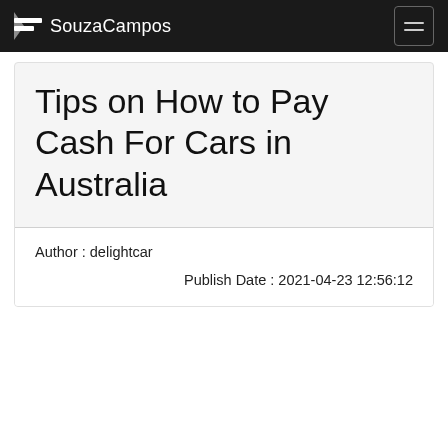SouzaCampos
Tips on How to Pay Cash For Cars in Australia
Author : delightcar
Publish Date : 2021-04-23 12:56:12